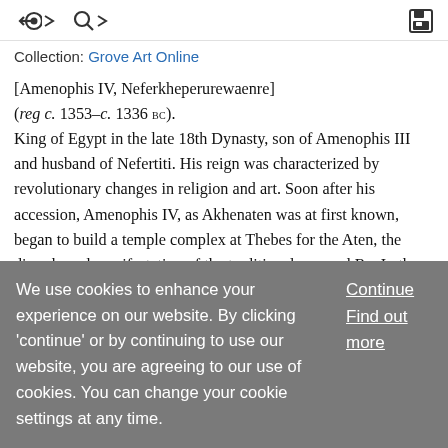Collection: Grove Art Online
[Amenophis IV, Neferkheperurewaenre]
(reg c. 1353–c. 1336 bc).
King of Egypt in the late 18th Dynasty, son of Amenophis III and husband of Nefertiti. His reign was characterized by revolutionary changes in religion and art. Soon after his accession, Amenophis IV, as Akhenaten was at first known, began to build a temple complex at Thebes for the Aten, the disc-shaped manifestation of the traditional sun-god Re. In the fifth year of his reign, he founded a new capital in Middle Egypt at the site now known as Amarna, (Tell) el-:
We use cookies to enhance your experience on our website. By clicking 'continue' or by continuing to use our website, you are agreeing to our use of cookies. You can change your cookie settings at any time.